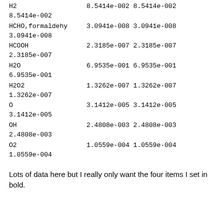| Species | Col1 | Col2 | Col3 |
| --- | --- | --- | --- |
| H2 | 8.5414e-002 | 8.5414e-002 | 8.5414e-002 |
| HCHO,formaldehy | 3.0941e-008 | 3.0941e-008 | 3.0941e-008 |
| HCOOH | 2.3185e-007 | 2.3185e-007 | 2.3185e-007 |
| H2O | 6.9535e-001 | 6.9535e-001 | 6.9535e-001 |
| H2O2 | 1.3262e-007 | 1.3262e-007 | 1.3262e-007 |
| O | 3.1412e-005 | 3.1412e-005 | 3.1412e-005 |
| OH | 2.4808e-003 | 2.4808e-003 | 2.4808e-003 |
| O2 | 1.0559e-004 | 1.0559e-004 | 1.0559e-004 |
Lots of data here but I really only want the four items I set in bold.